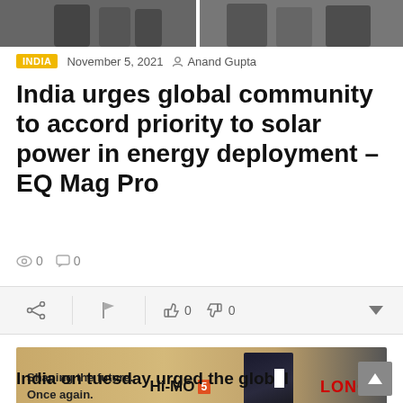[Figure (photo): Two cropped photos side-by-side showing people in formal/business attire, partially visible at top of page]
INDIA   November 5, 2021   Anand Gupta
India urges global community to accord priority to solar power in energy deployment – EQ Mag Pro
0 views  0 comments
[Figure (infographic): Social action bar with share, flag, thumbs up 0, thumbs down 0, and dropdown arrow icons on grey background]
[Figure (photo): Advertisement banner: Shaping the future. Once again. Hi-MO 5 LONGi – showing solar panels on sandy background]
India on tuesday urged the global